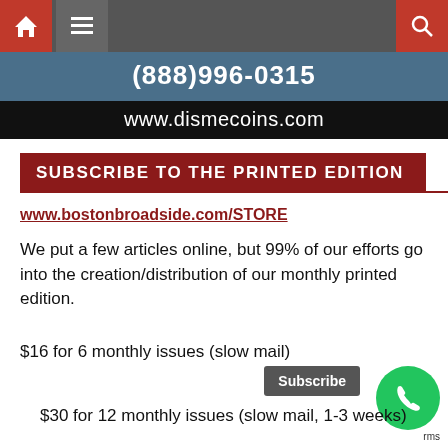(888)996-0315
www.dismecoins.com
SUBSCRIBE TO THE PRINTED EDITION
www.bostonbroadside.com/STORE
We put a few articles online, but 99% of our efforts go into the creation/distribution of our monthly printed edition.
$16 for 6 monthly issues (slow mail)
$30 for 12 monthly issues (slow mail, 1-3 weeks)